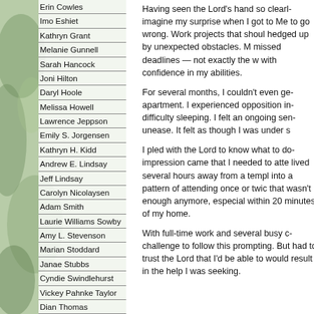Erin Cowles
Imo Eshiet
Kathryn Grant
Melanie Gunnell
Sarah Hancock
Joni Hilton
Daryl Hoole
Melissa Howell
Lawrence Jeppson
Emily S. Jorgensen
Kathryn H. Kidd
Andrew E. Lindsay
Jeff Lindsay
Carolyn Nicolaysen
Adam Smith
Laurie Williams Sowby
Amy L. Stevenson
Marian Stoddard
Janae Stubbs
Cyndie Swindlehurst
Vickey Pahnke Taylor
Dian Thomas
Nauvoo Times Guest
Having seen the Lord's hand so clearl... imagine my surprise when I got to Me... to go wrong. Work projects that shoul... hedged up by unexpected obstacles. ... missed deadlines — not exactly the w... with confidence in my abilities.
For several months, I couldn't even ge... apartment. I experienced opposition in... difficulty sleeping. I felt an ongoing sen... unease. It felt as though I was under s...
I pled with the Lord to know what to do... impression came that I needed to atte... lived several hours away from a templ... into a pattern of attending once or twic... that wasn't enough anymore, especial... within 20 minutes of my home.
With full-time work and several busy c... challenge to follow this prompting. But... had to trust the Lord that I'd be able to... would result in the help I was seeking.